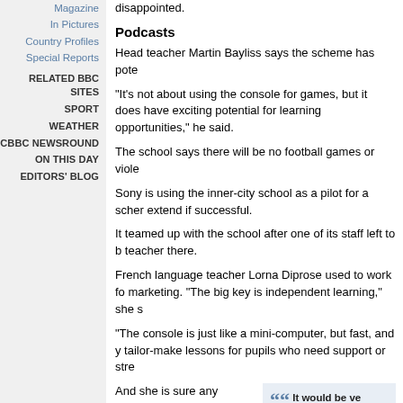Magazine
In Pictures
Country Profiles
Special Reports
RELATED BBC SITES
SPORT
WEATHER
CBBC NEWSROUND
ON THIS DAY
EDITORS' BLOG
disappointed.
Podcasts
Head teacher Martin Bayliss says the scheme has pote
"It's not about using the console for games, but it does have exciting potential for learning opportunities," he said.
The school says there will be no football games or viole
Sony is using the inner-city school as a pilot for a scher extend if successful.
It teamed up with the school after one of its staff left to b teacher there.
French language teacher Lorna Diprose used to work fo marketing. "The big key is independent learning," she s
"The console is just like a mini-computer, but fast, and y tailor-make lessons for pupils who need support or stre
And she is sure any attempts to run games on the consoles would soon be found out.
[Figure (infographic): Pull quote box: 'It would be very obvious if anyone tried to load games onto them' - Lorna Diprose, teacher]
"You are talking about access to all kinds of resources, but it would be very obvious if anyo games onto them."
Teachers at the school have been taught how to use th